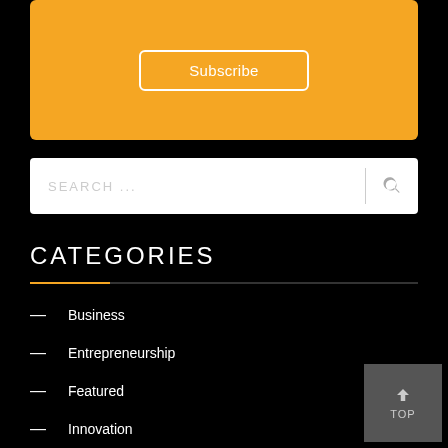[Figure (other): Orange subscribe box with a Subscribe button outlined in white]
SEARCH ...
CATEGORIES
Business
Entrepreneurship
Featured
Innovation
Leadership
Lifestyle